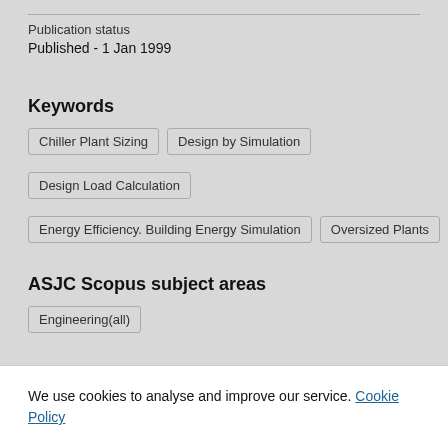Publication status
Published - 1 Jan 1999
Keywords
Chiller Plant Sizing
Design by Simulation
Design Load Calculation
Energy Efficiency. Building Energy Simulation
Oversized Plants
ASJC Scopus subject areas
Engineering(all)
UN SDGs
We use cookies to analyse and improve our service. Cookie Policy